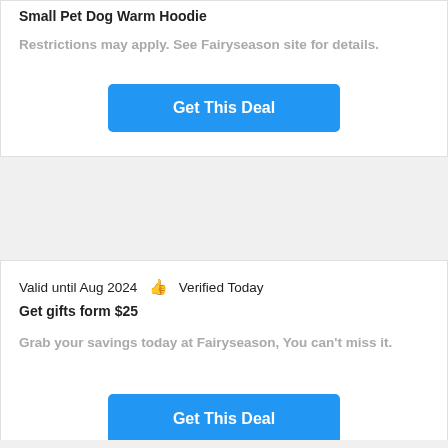Small Pet Dog Warm Hoodie
Restrictions may apply. See Fairyseason site for details.
Get This Deal
Valid until Aug 2024   👍   Verified Today
Get gifts form $25
Grab your savings today at Fairyseason, You can't miss it.
Get This Deal